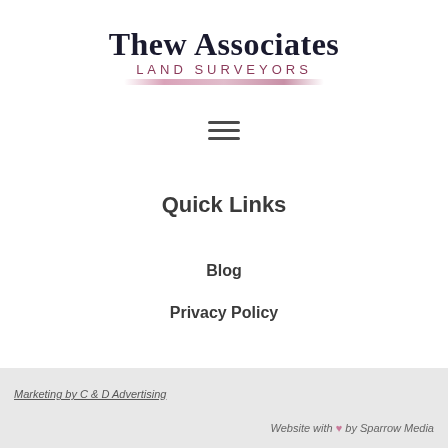[Figure (logo): Thew Associates Land Surveyors logo with text and pink underline stroke]
[Figure (other): Hamburger menu icon with three horizontal lines]
Quick Links
Blog
Privacy Policy
Marketing by C & D Advertising   Website with ♥ by Sparrow Media